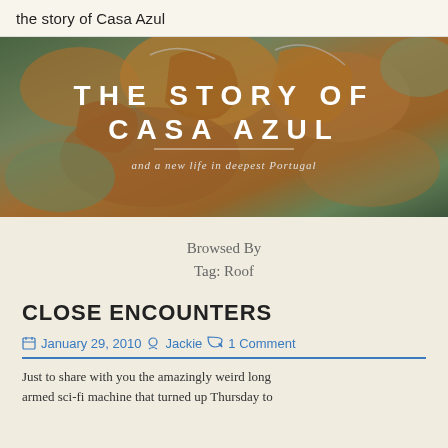the story of Casa Azul
[Figure (photo): Hero banner image with frosted autumn leaves background. Large text overlay reading 'THE STORY OF CASA AZUL' with subtitle 'and a new life in deepest Portugal']
Browsed By
Tag: Roof
CLOSE ENCOUNTERS
January 29, 2010  Jackie  1 Comment
Just to share with you the amazingly weird long armed sci-fi machine that turned up Thursday to